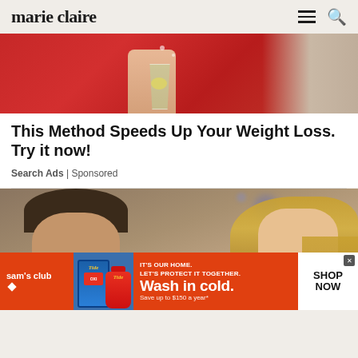marie claire
[Figure (photo): Close-up photo of hands holding a drink with a lemon/mint garnish, red outfit visible, sofa in background]
This Method Speeds Up Your Weight Loss. Try it now!
Search Ads | Sponsored
[Figure (photo): Photo of a man and woman (couple) looking at each other, man in dark suit on left, woman with blonde hair on right, bokeh background]
[Figure (infographic): Sam's Club advertisement banner: IT'S OUR HOME. LET'S PROTECT IT TOGETHER. Wash in cold. Save up to $150 a year* with Tide products image and SHOP NOW button]